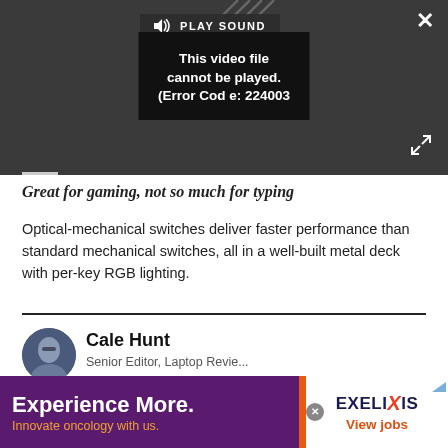[Figure (screenshot): Video player showing error: This video file cannot be played. (Error Code: 224003). Dark background with PLAY SOUND button at top, close X button top right, expand button bottom right.]
Great for gaming, not so much for typing
Optical-mechanical switches deliver faster performance than standard mechanical switches, all in a well-built metal deck with per-key RGB lighting.
[Figure (photo): Author avatar photo of Cale Hunt, a person with glasses]
Cale Hunt
Senior Editor, Laptop Reviews
[Figure (infographic): Advertisement banner for Exelixis. Left side: purple background with 'Experience More.' headline and 'Innovate oncology with us.' subtext in orange. Right side: white background with Exelixis logo and 'View jobs' link in orange.]